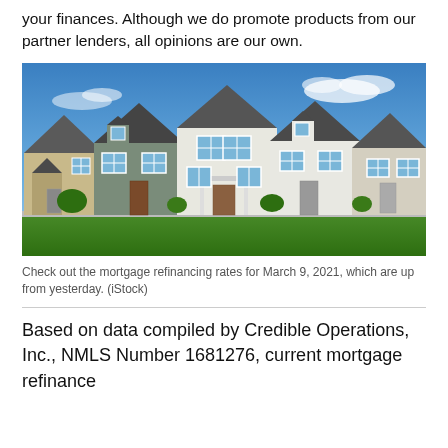your finances. Although we do promote products from our partner lenders, all opinions are our own.
[Figure (photo): A row of modern two-story suburban homes with grey and beige siding under a blue sky with some clouds, green lawns in front.]
Check out the mortgage refinancing rates for March 9, 2021, which are up from yesterday. (iStock)
Based on data compiled by Credible Operations, Inc., NMLS Number 1681276, current mortgage refinance